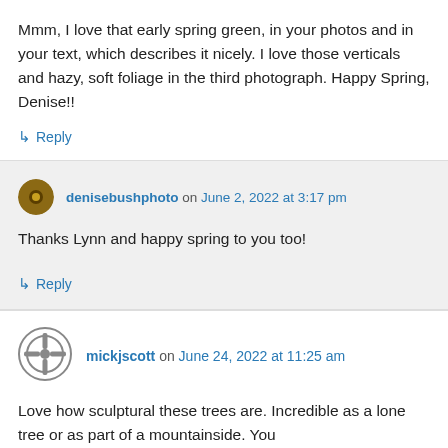Mmm, I love that early spring green, in your photos and in your text, which describes it nicely. I love those verticals and hazy, soft foliage in the third photograph. Happy Spring, Denise!!
↳ Reply
denisebushphoto on June 2, 2022 at 3:17 pm
Thanks Lynn and happy spring to you too!
↳ Reply
mickjscott on June 24, 2022 at 11:25 am
Love how sculptural these trees are. Incredible as a lone tree or as part of a mountainside. You